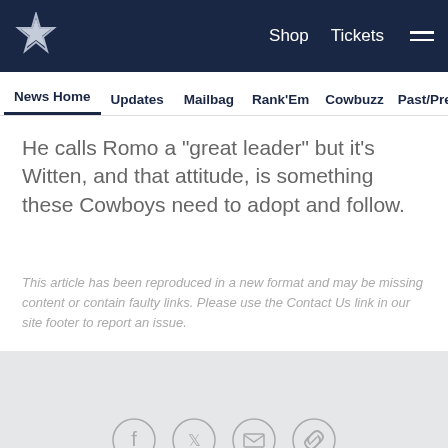Shop  Tickets  ☰
News Home  Updates  Mailbag  Rank'Em  Cowbuzz  Past/Pres
He calls Romo a "great leader" but it's Witten, and that attitude, is something these Cowboys need to adopt and follow.
This article has been reproduced in a new format and may be missing content or contain faulty links. Please use the Contact Us link in our site footer to report an issue.